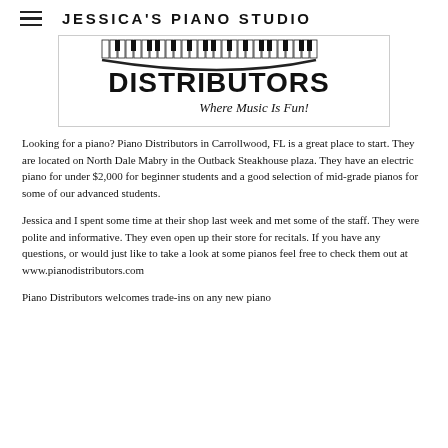JESSICA'S PIANO STUDIO
[Figure (logo): Piano Distributors logo with piano keys graphic and tagline 'Where Music Is Fun!']
Looking for a piano? Piano Distributors in Carrollwood, FL is a great place to start. They are located on North Dale Mabry in the Outback Steakhouse plaza. They have an electric piano for under $2,000 for beginner students and a good selection of mid-grade pianos for some of our advanced students.
Jessica and I spent some time at their shop last week and met some of the staff. They were polite and informative. They even open up their store for recitals. If you have any questions, or would just like to take a look at some pianos feel free to check them out at www.pianodistributors.com
Piano Distributors welcomes trade-ins on any new piano